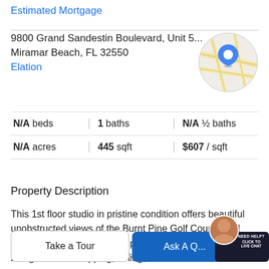Estimated Mortgage
9800 Grand Sandestin Boulevard, Unit 5...
Miramar Beach, FL 32550
Elation
[Figure (map): Circular map thumbnail showing street map with blue location pin]
| N/A beds | 1 baths | N/A ½ baths |
| N/A acres | 445 sqft | $607 / sqft |
Property Description
This 1st floor studio in pristine condition offers beautiful unobstructed views of the Burnt Pine Golf Course and lake. Enjoy a gorgeous and peaceful setting while also being close to shopping, dining, and entertainment in the
Village of Baytowne Wharf. With updated wood-like tile
Take a Tour
Ask A Q...